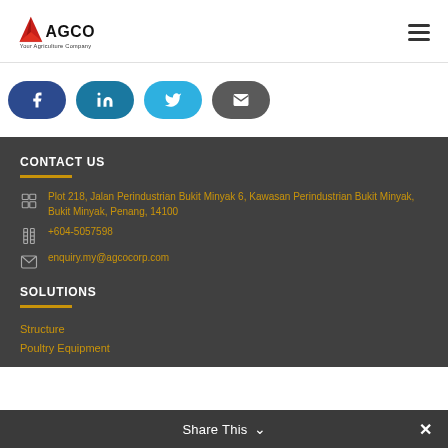[Figure (logo): AGCO logo — red triangle mountain with AGCO text and 'Your Agriculture Company' tagline]
[Figure (infographic): Social sharing buttons: Facebook (dark blue), LinkedIn (teal), Twitter (light blue), Email (dark grey)]
CONTACT US
Plot 218, Jalan Perindustrian Bukit Minyak 6, Kawasan Perindustrian Bukit Minyak, Bukit Minyak, Penang, 14100
+604-5057598
enquiry.my@agcocorp.com
SOLUTIONS
Structure
Poultry Equipment
Share This  ×